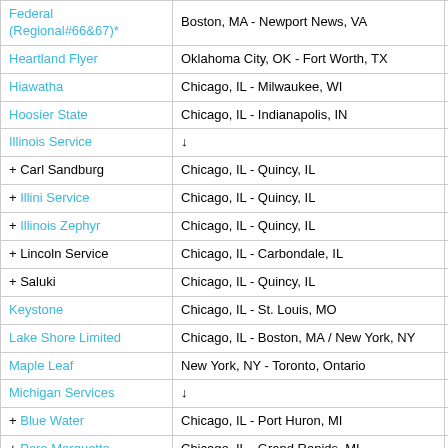| Train Name | Route | Notes |
| --- | --- | --- |
| Federal (Regional#66&67)* | Boston, MA - Newport News, VA |  |
| Heartland Flyer | Oklahoma City, OK - Fort Worth, TX |  |
| Hiawatha | Chicago, IL - Milwaukee, WI |  |
| Hoosier State | Chicago, IL - Indianapolis, IN |  |
| Illinois Service | ↓ |  |
| + Carl Sandburg | Chicago, IL - Quincy, IL |  |
| + Illini Service | Chicago, IL - Quincy, IL |  |
| + Illinois Zephyr | Chicago, IL - Quincy, IL |  |
| + Lincoln Service | Chicago, IL - Carbondale, IL |  |
| + Saluki | Chicago, IL - Quincy, IL |  |
| Keystone | Chicago, IL - St. Louis, MO |  |
| Lake Shore Limited | Chicago, IL - Boston, MA / New York, NY | 🔲🔲 |
| Maple Leaf | New York, NY - Toronto, Ontario |  |
| Michigan Services | ↓ |  |
| + Blue Water | Chicago, IL - Port Huron, MI |  |
| + Pere Marquette | Chicago, IL - Grand Rapids, MI |  |
| + Wolverine | Chicago, IL - Detroit, MI - Pontiac, MI |  |